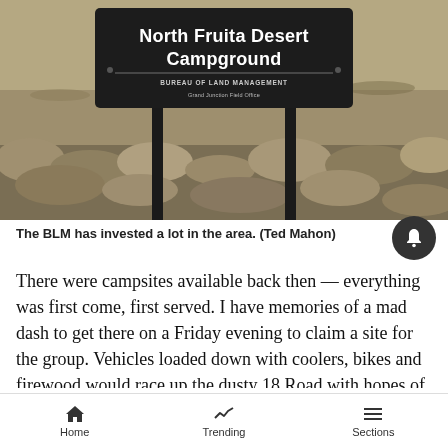[Figure (photo): Photo of a North Fruita Desert Campground sign mounted on two dark posts, Bureau of Land Management Grand Junction Field Office, with rocky desert terrain in the background.]
The BLM has invested a lot in the area. (Ted Mahon)
There were campsites available back then — everything was first come, first served. I have memories of a mad dash to get there on a Friday evening to claim a site for the group. Vehicles loaded down with coolers, bikes and firewood would race up the dusty 18 Road with hopes of getting one of the limited spots. If you showed up late, you were usually
Home   Trending   Sections